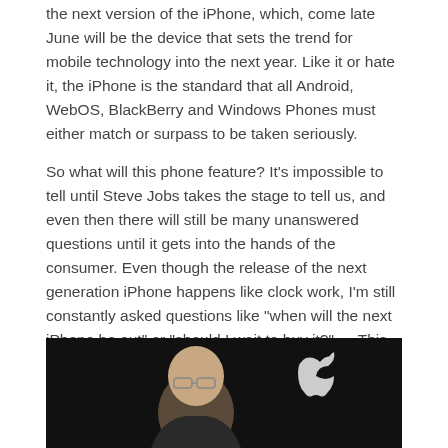the next version of the iPhone, which, come late June will be the device that sets the trend for mobile technology into the next year. Like it or hate it, the iPhone is the standard that all Android, WebOS, BlackBerry and Windows Phones must either match or surpass to be taken seriously.
So what will this phone feature? It’s impossible to tell until Steve Jobs takes the stage to tell us, and even then there will still be many unanswered questions until it gets into the hands of the consumer. Even though the release of the next generation iPhone happens like clock work, I’m still constantly asked questions like “when will the next iPhone be out” or “should I wait to buy it?” — This article serves to help anwser those questions right now.
By the way, if you thought I mistaken when I said Steve Jobs will take the stage, let me clarify: (more…)
Leave Steve Alone
February 16th, 2011 at 10:41 PM  Michael Stanclift
[Figure (photo): Photo of a man (Steve Jobs) in front of a dark background with an Apple logo visible on the right side.]